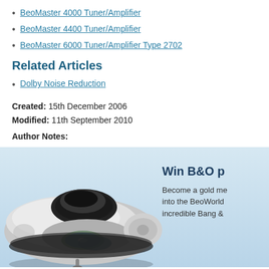BeoMaster 4000 Tuner/Amplifier
BeoMaster 4400 Tuner/Amplifier
BeoMaster 6000 Tuner/Amplifier Type 2702
Related Articles
Dolby Noise Reduction
Created: 15th December 2006
Modified: 11th September 2010
Author Notes:
[Figure (photo): Bang & Olufsen CD player device with UFO-like disc shape, silver and black, with CDs visible, on light blue gradient background]
Win B&O p
Become a gold me... into the BeoWorld... incredible Bang &...